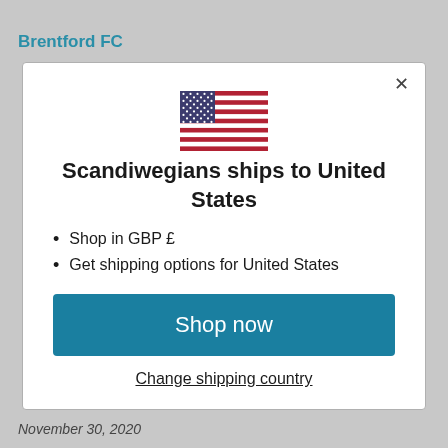Brentford FC
[Figure (illustration): US flag emoji/icon centered in modal]
Scandiwegians ships to United States
Shop in GBP £
Get shipping options for United States
Shop now
Change shipping country
November 30, 2020